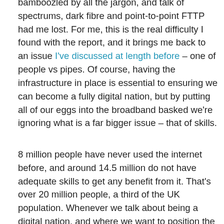bamboozled by all the jargon, and talk of spectrums, dark fibre and point-to-point FTTP had me lost. For me, this is the real difficulty I found with the report, and it brings me back to an issue I've discussed at length before – one of people vs pipes. Of course, having the infrastructure in place is essential to ensuring we can become a fully digital nation, but by putting all of our eggs into the broadband basked we're ignoring what is a far bigger issue – that of skills.
8 million people have never used the internet before, and around 14.5 million do not have adequate skills to get any benefit from it. That's over 20 million people, a third of the UK population. Whenever we talk about being a digital nation, and where we want to position the UK in the digital league table, we need to remember these 20 million people, and ensure that by investing in better pipes we are